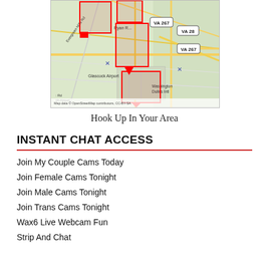[Figure (map): A road map showing the Washington Dulles International Airport area in Virginia, with profile photo pins overlaid on the map near roads including Evergreen Mills Rd and VA-267 and VA-28. Map data credited to OpenStreetMap contributors, CC-BY-SA.]
Hook Up In Your Area
INSTANT CHAT ACCESS
Join My Couple Cams Today
Join Female Cams Tonight
Join Male Cams Tonight
Join Trans Cams Tonight
Wax6 Live Webcam Fun
Strip And Chat